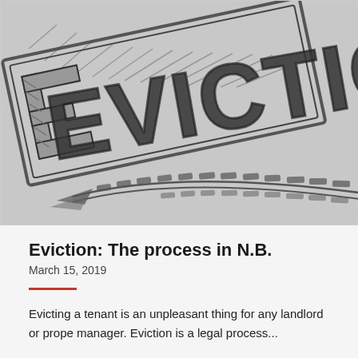[Figure (illustration): A hand-drawn pencil sketch illustration of the word 'EVICTION' in large block letters, with hatching and shading. The letters appear on a tilted rectangular sign or stamp shape with a decorative underline swoosh.]
Eviction: The process in N.B.
March 15, 2019
Evicting a tenant is an unpleasant thing for any landlord or property manager. Eviction is a legal process...